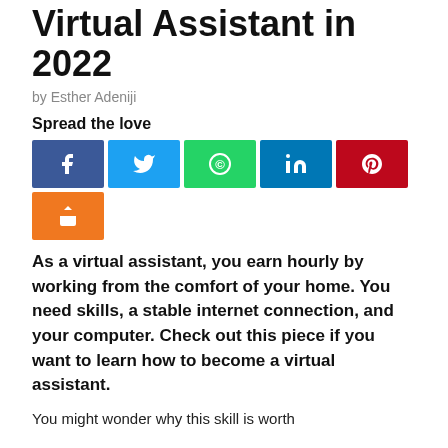Virtual Assistant in 2022
by Esther Adeniji
Spread the love
[Figure (infographic): Social sharing buttons: Facebook (blue), Twitter (light blue), WhatsApp (green), LinkedIn (blue), Pinterest (red), Share (orange)]
As a virtual assistant, you earn hourly by working from the comfort of your home. You need skills, a stable internet connection, and your computer. Check out this piece if you want to learn how to become a virtual assistant.
You might wonder why this skill is worth